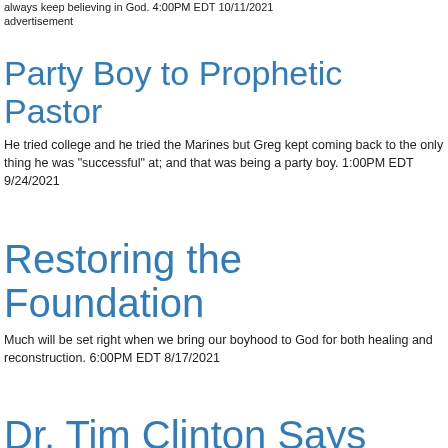always keep believing in God. 4:00PM EDT 10/11/2021
advertisement
Party Boy to Prophetic Pastor
He tried college and he tried the Marines but Greg kept coming back to the only thing he was "successful" at; and that was being a party boy. 1:00PM EDT 9/24/2021
Restoring the Foundation
Much will be set right when we bring our boyhood to God for both healing and reconstruction. 6:00PM EDT 8/17/2021
Dr. Tim Clinton Says 'Men Matter'—And Must Reclaim